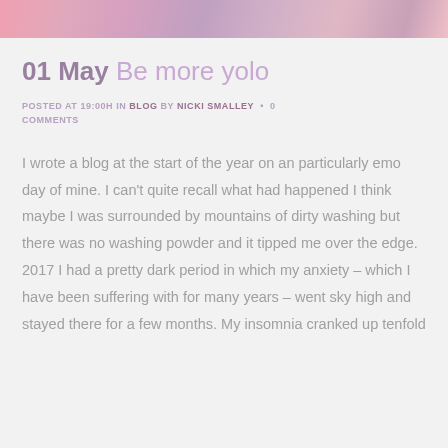[Figure (photo): Partial photo strip at the top of the page, showing a pink-toned image.]
01 May Be more yolo
POSTED AT 19:00H IN BLOG BY NICKI SMALLEY • 0 COMMENTS
I wrote a blog at the start of the year on an particularly emo day of mine. I can't quite recall what had happened I think maybe I was surrounded by mountains of dirty washing but there was no washing powder and it tipped me over the edge. 2017 I had a pretty dark period in which my anxiety – which I have been suffering with for many years – went sky high and stayed there for a few months. My insomnia cranked up tenfold